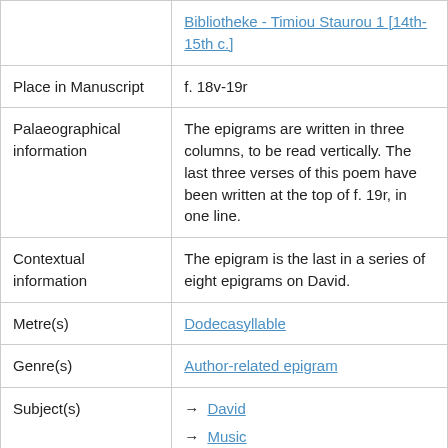|  | Bibliotheke - Timiou Staurou 1 [14th-15th c.] |
| Place in Manuscript | f. 18v-19r |
| Palaeographical information | The epigrams are written in three columns, to be read vertically. The last three verses of this poem have been written at the top of f. 19r, in one line. |
| Contextual information | The epigram is the last in a series of eight epigrams on David. |
| Metre(s) | Dodecasyllable |
| Genre(s) | Author-related epigram |
| Subject(s) | → David
→ Music |